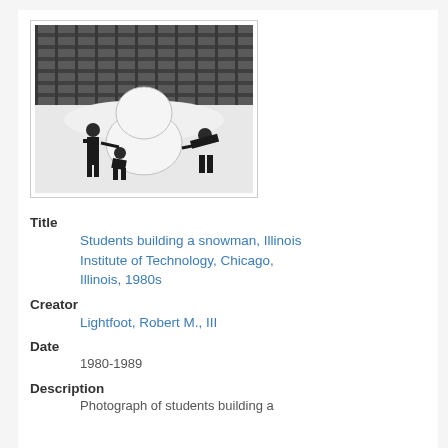[Figure (photo): Black and white photograph of students building a snowman outdoors at Illinois Institute of Technology, Chicago, Illinois, 1980s. A large snowball is in the center, with dark fence/building visible in the background.]
Title
Students building a snowman, Illinois Institute of Technology, Chicago, Illinois, 1980s
Creator
Lightfoot, Robert M., III
Date
1980-1989
Description
Photograph of students building a